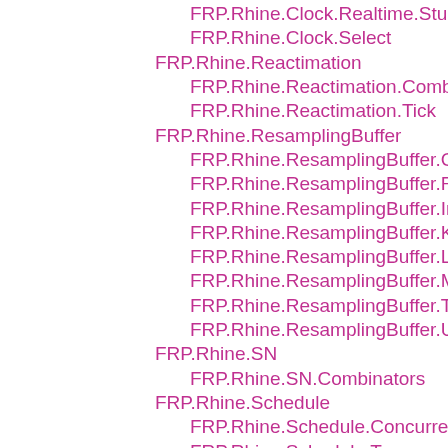FRP.Rhine.Clock.Realtime.Stum
FRP.Rhine.Clock.Select
FRP.Rhine.Reactimation
FRP.Rhine.Reactimation.Combinators
FRP.Rhine.Reactimation.Tick
FRP.Rhine.ResamplingBuffer
FRP.Rhine.ResamplingBuffer.Collect
FRP.Rhine.ResamplingBuffer.FIFO
FRP.Rhine.ResamplingBuffer.Interpolation
FRP.Rhine.ResamplingBuffer.KeepLast
FRP.Rhine.ResamplingBuffer.LIFO
FRP.Rhine.ResamplingBuffer.MSF
FRP.Rhine.ResamplingBuffer.Timeless
FRP.Rhine.ResamplingBuffer.Util
FRP.Rhine.SN
FRP.Rhine.SN.Combinators
FRP.Rhine.Schedule
FRP.Rhine.Schedule.Concurrently
FRP.Rhine.Schedule.Trans